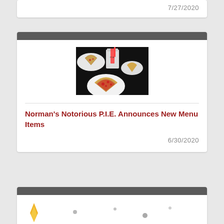7/27/2020
[Figure (photo): Photo of pizza slices on white plates with a drink cup branded P.I.E. on a dark background]
Norman's Notorious P.I.E. Announces New Menu Items
6/30/2020